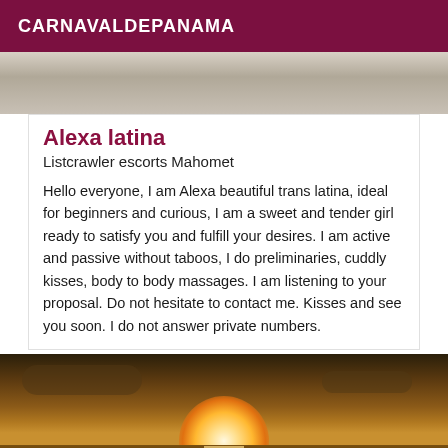CARNAVALDEPANAMA
[Figure (photo): Top portion of a photo, light colored background with fabric/textile visible]
Alexa latina
Listcrawler escorts Mahomet
Hello everyone, I am Alexa beautiful trans latina, ideal for beginners and curious, I am a sweet and tender girl ready to satisfy you and fulfill your desires. I am active and passive without taboos, I do preliminaries, cuddly kisses, body to body massages. I am listening to your proposal. Do not hesitate to contact me. Kisses and see you soon. I do not answer private numbers.
[Figure (photo): Sunset photo with dramatic orange and golden sky, bright sun on the horizon reflecting on water below]